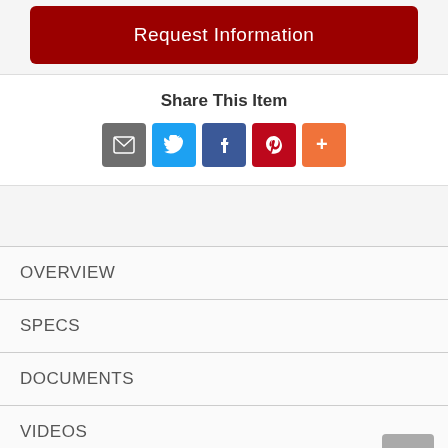Request Information
Share This Item
[Figure (infographic): Social share icons: email (grey), Twitter (blue), Facebook (dark blue), Pinterest (red), More (orange)]
OVERVIEW
SPECS
DOCUMENTS
VIDEOS
DELIVERY